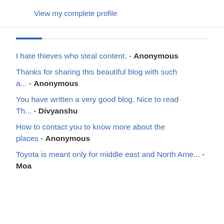View my complete profile
I hate thieves who steal content. - Anonymous
Thanks for sharing this beautiful blog with such a... - Anonymous
You have written a very good blog. Nice to read Th... - Divyanshu
How to contact you to know more about the places - Anonymous
Toyota is meant only for middle east and North Ame... - Moa